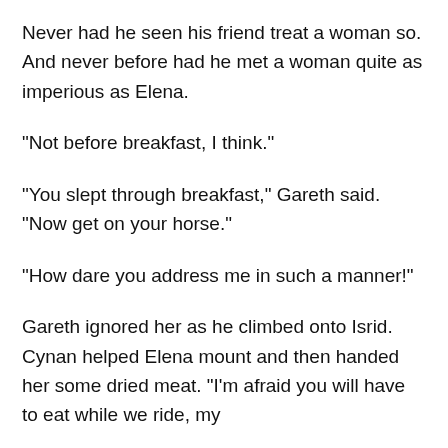Never had he seen his friend treat a woman so. And never before had he met a woman quite as imperious as Elena.
"Not before breakfast, I think."
"You slept through breakfast," Gareth said. "Now get on your horse."
"How dare you address me in such a manner!"
Gareth ignored her as he climbed onto Isrid. Cynan helped Elena mount and then handed her some dried meat. "I'm afraid you will have to eat while we ride, my